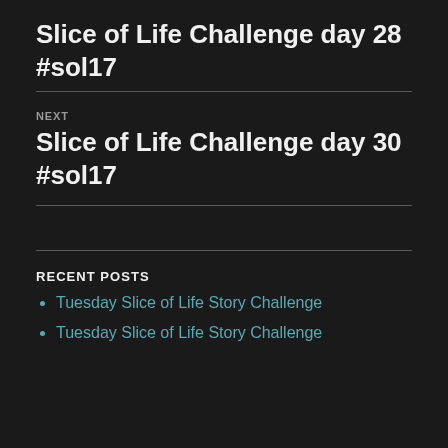Slice of Life Challenge day 28 #sol17
NEXT
Slice of Life Challenge day 30 #sol17
RECENT POSTS
Tuesday Slice of Life Story Challenge
Tuesday Slice of Life Story Challenge